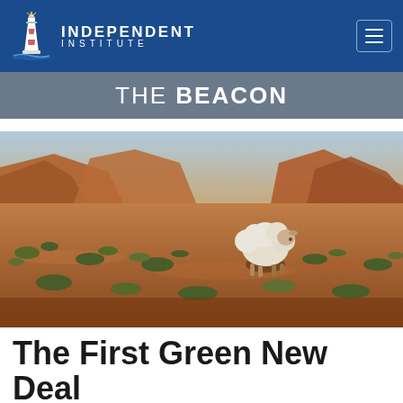INDEPENDENT INSTITUTE
THE BEACON
[Figure (photo): A white sheep standing in a vast red desert landscape with scrub brush and sandstone buttes in the background, shot with shallow depth of field.]
The First Green New Deal